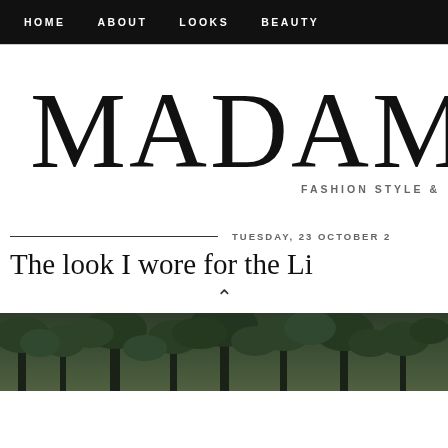HOME   ABOUT   LOOKS   BEAUTY
MADAM
FASHION STYLE &
TUESDAY, 23 OCTOBER 2
The look I wore for the Li
[Figure (photo): Outdoor photo with dark green trees and foliage in the background]